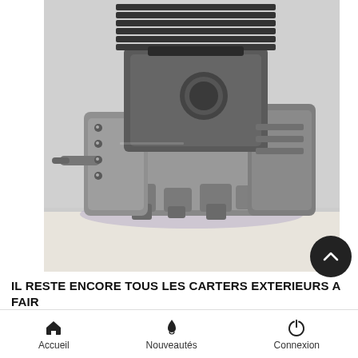[Figure (photo): Motorcycle engine block with crankcase and cylinder assembly, shown on a white surface. Engine is polished aluminum/silver with black cylinder fins visible at the top.]
IL RESTE ENCORE TOUS LES CARTERS EXTERIEURS A FAIRE
[Figure (other): Emoji face with musical note symbols]
Accueil   Nouveautés   Connexion